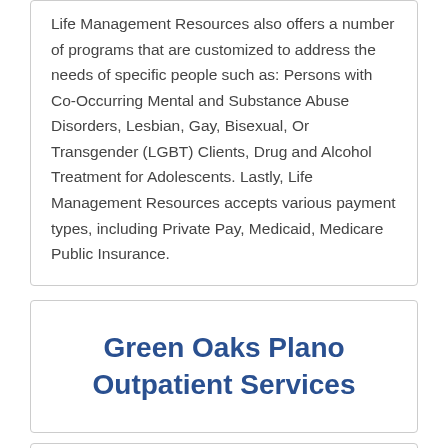Life Management Resources also offers a number of programs that are customized to address the needs of specific people such as: Persons with Co-Occurring Mental and Substance Abuse Disorders, Lesbian, Gay, Bisexual, Or Transgender (LGBT) Clients, Drug and Alcohol Treatment for Adolescents. Lastly, Life Management Resources accepts various payment types, including Private Pay, Medicaid, Medicare Public Insurance.
Green Oaks Plano Outpatient Services